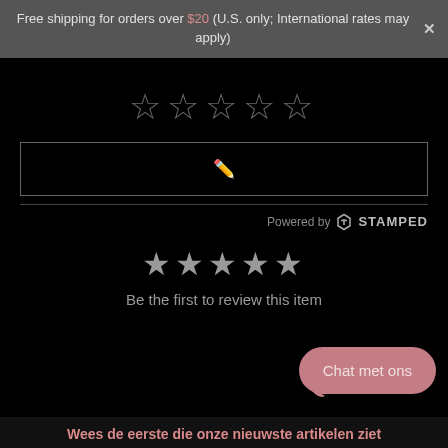Free shipping for orders over $20 (U.S. only; International rates may apply)
[Figure (other): Five empty star rating icons for user rating input]
[Figure (other): Write review button with pencil/edit icon]
Powered by STAMPED
[Figure (other): Five filled grey star icons indicating rating display]
Be the first to review this item
Chat met ons
Wees de eerste die onze nieuwste artikelen ziet